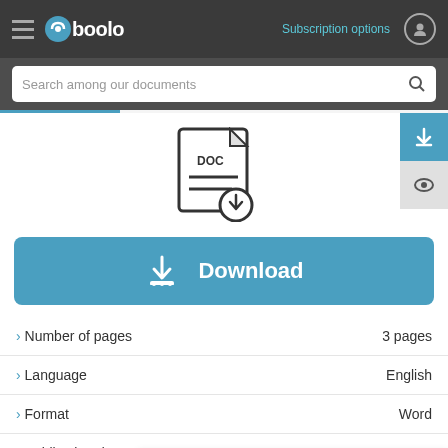[Figure (screenshot): Gboolo website navigation bar with hamburger menu, Gboolo logo, Subscription options link, and user icon on dark background]
[Figure (screenshot): Search bar with placeholder text 'Search among our documents' and search icon on dark background]
[Figure (screenshot): DOC file icon with download arrow, side download and eye buttons]
[Figure (screenshot): Blue Download button with download icon and text 'Download']
> Number of pages    3 pages
> Language    English
> Format    Word
> Publication date
> Read
Interested in a more recent version of this document? Contact us